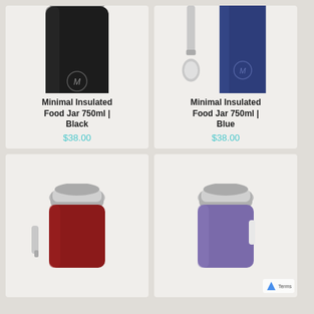[Figure (photo): Minimal insulated food jar 750ml in black color with chrome cap and M logo]
Minimal Insulated Food Jar 750ml | Black
$38.00
[Figure (photo): Minimal insulated food jar 750ml in blue color with chrome cap, M logo, and a foldable spoon beside it]
Minimal Insulated Food Jar 750ml | Blue
$38.00
[Figure (photo): Minimal insulated food jar in dark red/maroon color with chrome cap, partially visible]
[Figure (photo): Minimal insulated food jar in purple/lavender color with chrome cap, partially visible]